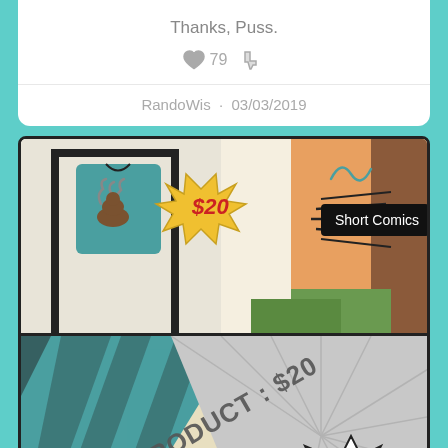Thanks, Puss.
❤ 79 👎
RandoWis · 03/03/2019
[Figure (illustration): Comic panel showing a merchandise display with a t-shirt and a price tag reading $20, with a 'Short Comics' label tooltip visible.]
[Figure (illustration): Comic panel showing dramatic text reading 'PRODUCT: $20' and 'SHIPPING: $30' in comic book style with starburst effects.]
Merch